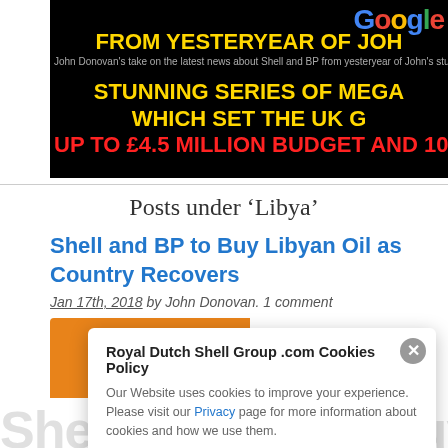[Figure (screenshot): Black banner image with Google logo top right, yellow bold text reading FROM YESTERYEAR OF JOH... STUNNING SERIES OF MEGA... WHICH SET THE UK G..., and red text UP TO £4.5 MILLION BUDGET AND 100]
Posts under ‘Libya’
Shell and BP to Buy Libyan Oil as Country Recovers
Jan 17th, 2018 by John Donovan. 1 comment
[Figure (screenshot): Cookie consent modal overlay on webpage with title Royal Dutch Shell Group .com Cookies Policy, body text about cookies, and a Privacy link. Background shows orange bar and large grey text Shell and BP to Buy Libyan...]